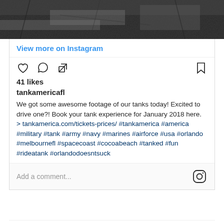[Figure (photo): Grayscale photo of dark ground with tangled debris/sticks at top of page]
View more on Instagram
[Figure (other): Instagram action icons: heart, comment, share (left); bookmark (right)]
41 likes
tankamericafl
We got some awesome footage of our tanks today! Excited to drive one?! Book your tank experience for January 2018 here.
> tankamerica.com/tickets-prices/ #tankamerica #america #military #tank #army #navy #marines #airforce #usa #orlando #melbournefl #spacecoast #cocoabeach #tanked #fun #rideatank #orlandodoesntsuck
Add a comment...